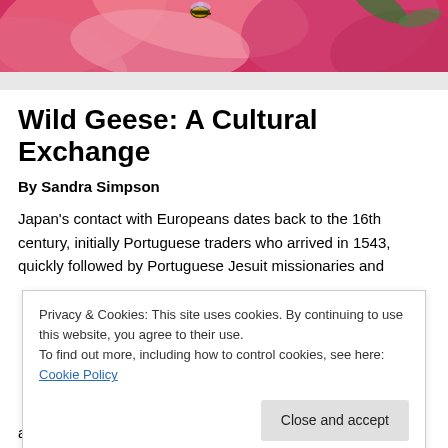[Figure (photo): Close-up photo of pink flower petals with a bee on top]
Wild Geese: A Cultural Exchange
By Sandra Simpson
Japan's contact with Europeans dates back to the 16th century, initially Portuguese traders who arrived in 1543, quickly followed by Portuguese Jesuit missionaries and
Privacy & Cookies: This site uses cookies. By continuing to use this website, you agree to their use.
To find out more, including how to control cookies, see here: Cookie Policy
among other things, and while the latter were embraced,